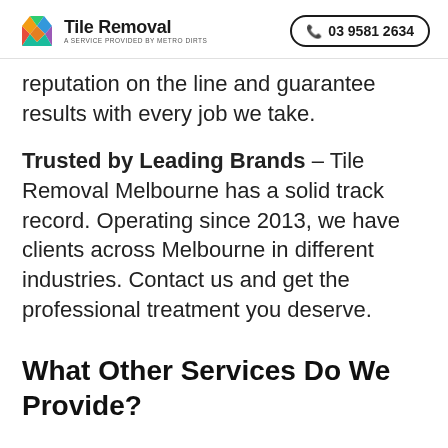Tile Removal — A SERVICE PROVIDED BY METRO DIRTS | 03 9581 2634
reputation on the line and guarantee results with every job we take.
Trusted by Leading Brands – Tile Removal Melbourne has a solid track record. Operating since 2013, we have clients across Melbourne in different industries. Contact us and get the professional treatment you deserve.
What Other Services Do We Provide?